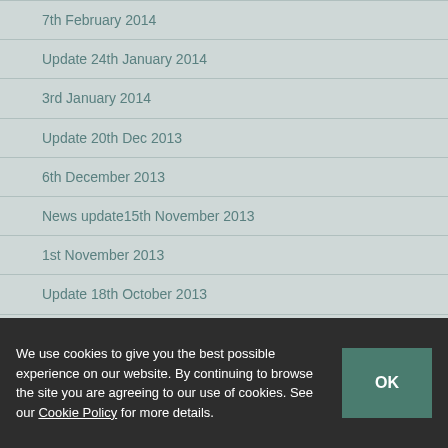7th February 2014
Update 24th January 2014
3rd January 2014
Update 20th Dec 2013
6th December 2013
News update15th November 2013
1st November 2013
Update 18th October 2013
October 2013
September 2013
August 2013
July 2013
We use cookies to give you the best possible experience on our website. By continuing to browse the site you are agreeing to our use of cookies. See our Cookie Policy for more details.